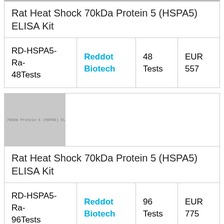Rat Heat Shock 70kDa Protein 5 (HSPA5) ELISA Kit
| Product ID | Brand | Quantity | Price |
| --- | --- | --- | --- |
| RD-HSPA5-Ra-48Tests | Reddot Biotech | 48 Tests | EUR 557 |
[Figure (photo): Product image placeholder for Rat Heat Shock 70kDa Protein 5 (HSPA5) ELISA Kit]
Rat Heat Shock 70kDa Protein 5 (HSPA5) ELISA Kit
| Product ID | Brand | Quantity | Price |
| --- | --- | --- | --- |
| RD-HSPA5-Ra-96Tests | Reddot Biotech | 96 Tests | EUR 775 |